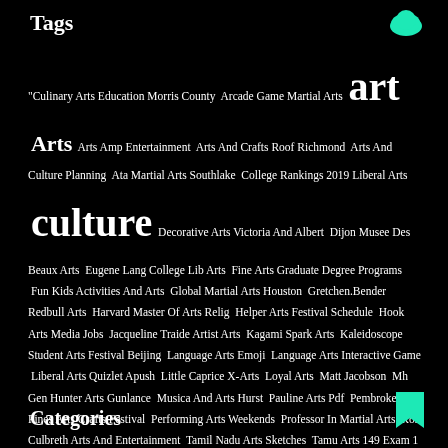Tags
"Culinary Arts Education Morris County  Arcade Game Martial Arts  art  Arts  Arts Amp Entertainment  Arts And Crafts Roof Richmond  Arts And Culture Planning  Ata Martial Arts Southlake  College Rankings 2019 Liberal Arts  culture  Decorative Arts Victoria And Albert  Dijon Musee Des Beaux Arts  Eugene Lang College Lib Arts  Fine Arts Graduate Degree Programs  Fun Kids Activities And Arts  Global Martial Arts Houston  Gretchen.Bender Redbull Arts  Harvard Master Of Arts Relig  Helper Arts Festival Schedule  Hook Arts Media Jobs  Jacqueline Traide Artist Arts  Kagami Spark Arts  Kaleidoscope Student Arts Festival Beijing  Language Arts Emoji  Language Arts Interactive Game  Liberal Arts Quizlet Apush  Little Caprice X-Arts  Loyal Arts  Matt Jacobson  Mh Gen Hunter Arts Gunlance  Musica And Arts Hurst  Pauline Arts Pdf  Pembroke Pines Arts Crafts Festival  Performing Arts Weekends  Professor In Martial Arts  Ron Culbreth Arts And Entertainment  Tamil Nadu Arts Sketches  Tamu Arts 149 Exam 1  The Arts Dallas Apartments  Theather Arts Highschool Houston  Top Martial Arts Flims 2015  Training In Healing Arts  Ufc Game All Martial Arts  Visual Arts Colleges In Florida  Visual Arts Schools Florida  World Arts And Culture Npr
Categories